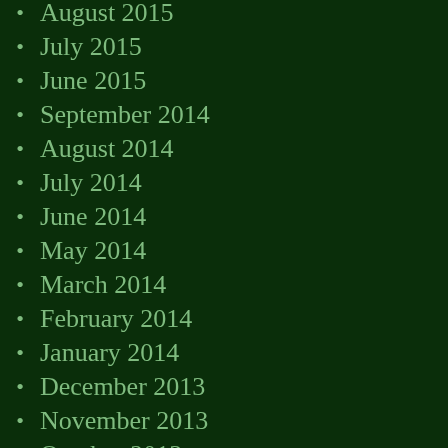August 2015
July 2015
June 2015
September 2014
August 2014
July 2014
June 2014
May 2014
March 2014
February 2014
January 2014
December 2013
November 2013
October 2013
September 2013
August 2013
June 2013